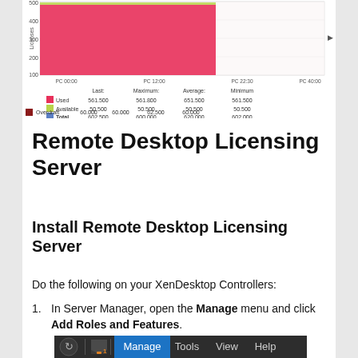[Figure (area-chart): Area/bar chart showing license usage metrics with a legend table. Legend shows Used (red), Available (yellow-green), Total (blue), Overdraft (dark red) with Last, Maximum, Average, Minimum columns. Values: Used 561.500/561.800/651.500/561.500, Available 50.500/50.500/50.500/50.500, Total 602.500/600.000/620.000/602.000, Overdraft 60.000/60.000/62.500/60.000]
Remote Desktop Licensing Server
Install Remote Desktop Licensing Server
Do the following on your XenDesktop Controllers:
In Server Manager, open the Manage menu and click Add Roles and Features.
[Figure (screenshot): Screenshot of Server Manager toolbar showing Manage (highlighted in blue), Tools, View, Help menu items with icons on the left.]